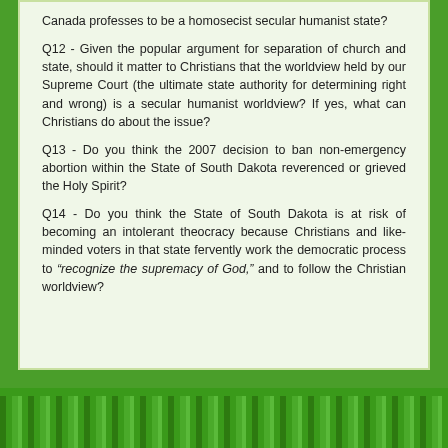Canada professes to be a homosecist secular humanist state?
Q12 - Given the popular argument for separation of church and state, should it matter to Christians that the worldview held by our Supreme Court (the ultimate state authority for determining right and wrong) is a secular humanist worldview?  If yes, what can Christians do about the issue?
Q13 - Do you think the 2007 decision to ban non-emergency abortion within the State of South Dakota reverenced or grieved the Holy Spirit?
Q14 - Do you think the State of South Dakota is at risk of becoming an intolerant theocracy because Christians and like-minded voters in that state fervently work the democratic process to “recognize the supremacy of God,” and to follow the Christian worldview?